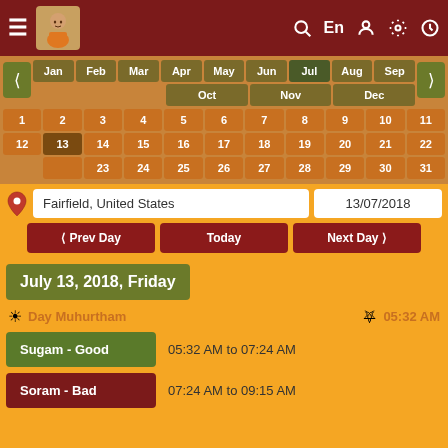[Figure (screenshot): Top navigation bar with hamburger menu, logo, search, En, user, settings, and clock icons]
[Figure (infographic): Month selector calendar showing Jan-Dec with Jul highlighted, day grid 1-31, navigation arrows]
Fairfield, United States
13/07/2018
❮ Prev Day
Today
Next Day ❯
July 13, 2018, Friday
☀ Day Muhurtham
🌅 05:32 AM
Sugam - Good
05:32 AM to 07:24 AM
Soram - Bad
07:24 AM to 09:15 AM